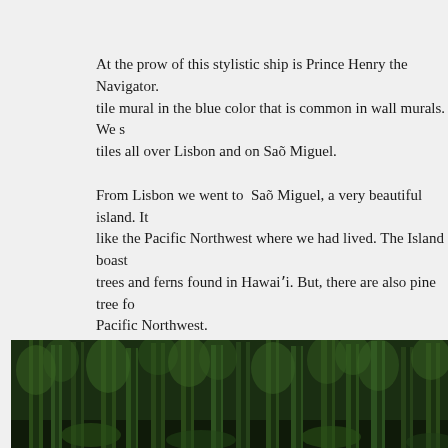At the prow of this stylistic ship is Prince Henry the Navigator. tile mural in the blue color that is common in wall murals. We s tiles all over Lisbon and on Saõ Miguel.
From Lisbon we went to  Saõ Miguel, a very beautiful island. It like the Pacific Northwest where we had lived. The Island boast trees and ferns found in Hawai'i. But, there are also pine tree fo Pacific Northwest.
It was on Saõ Miguel that we visited the Church of my Grandm parish's records of her baptism with the assistance of the parish to me. At the Public Library, we found the complete record of m along with the record of her parent's marriage.
[Figure (photo): Forest photo showing tall moss-covered trees with dense green canopy, resembling Pacific Northwest or Hawaiian rainforest.]